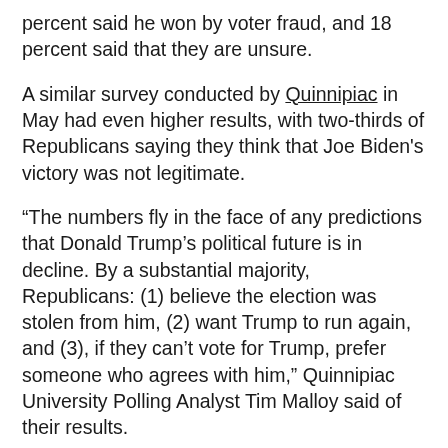percent said he won by voter fraud, and 18 percent said that they are unsure.
A similar survey conducted by Quinnipiac in May had even higher results, with two-thirds of Republicans saying they think that Joe Biden's victory was not legitimate.
“The numbers fly in the face of any predictions that Donald Trump’s political future is in decline. By a substantial majority, Republicans: (1) believe the election was stolen from him, (2) want Trump to run again, and (3), if they can’t vote for Trump, prefer someone who agrees with him,” Quinnipiac University Polling Analyst Tim Malloy said of their results.
Yet another survey on the same topic from Monmouth University, which was released on Monday, found that 32 percent of all Americans, regardless of party, believe that